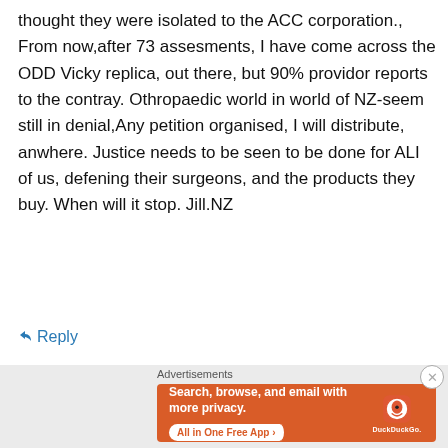thought they were isolated to the ACC corporation., From now,after 73 assesments, I have come across the ODD Vicky replica, out there, but 90% providor reports to the contray. Othropaedic world in world of NZ-seem still in denial,Any petition organised, I will distribute, anwhere. Justice needs to be seen to be done for ALI of us, defening their surgeons, and the products they buy. When will it stop. Jill.NZ
↳ Reply
Advertisements
[Figure (other): DuckDuckGo advertisement banner on orange background. Text: 'Search, browse, and email with more privacy. All in One Free App' with DuckDuckGo logo and phone image.]